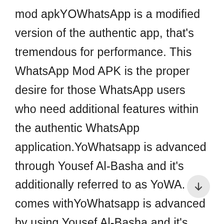mod apkYOWhatsApp is a modified version of the authentic app, that's tremendous for performance. This WhatsApp Mod APK is the proper desire for those WhatsApp users who need additional features within the authentic WhatsApp application.YoWhatsapp is advanced through Yousef Al-Basha and it's additionally referred to as YoWA. It comes withYoWhatsapp is advanced by using Yousef Al-Basha and it's also known as YoWA. It comes with all of the classic features however added new features that deal with elements like user privateness or interface customization. Here is the detail of YOWhatsApp underneath.Operating System: AndroidCategory: Apps, verbal exchangeAuthor: Yousef Al